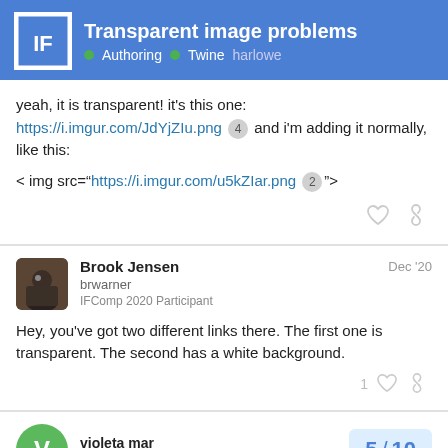Transparent image problems | Authoring · Twine · harlowe
yeah, it is transparent! it's this one: https://i.imgur.com/JdYjZIu.png 4 and i'm adding it normally, like this:
< img src="https://i.imgur.com/u5kZIar.png 2">
Brook Jensen Dec '20
brwarner
IFComp 2020 Participant
Hey, you've got two different links there. The first one is transparent. The second has a white background.
violeta mar
vivioletata
5 / 10